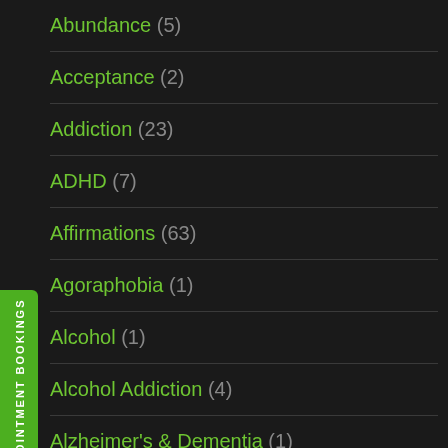Abundance (5)
Acceptance (2)
Addiction (23)
ADHD (7)
Affirmations (63)
Agoraphobia (1)
Alcohol (1)
Alcohol Addiction (4)
Alzheimer's & Dementia (1)
Anger (7)
Anger Management (5)